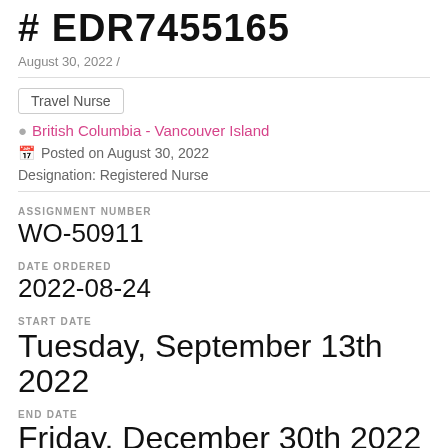# EDR7455165
August 30, 2022 /
Travel Nurse
British Columbia - Vancouver Island
Posted on August 30, 2022
Designation: Registered Nurse
ASSIGNMENT NUMBER
WO-50911
DATE ORDERED
2022-08-24
START DATE
Tuesday, September 13th 2022
END DATE
Friday, December 30th 2022